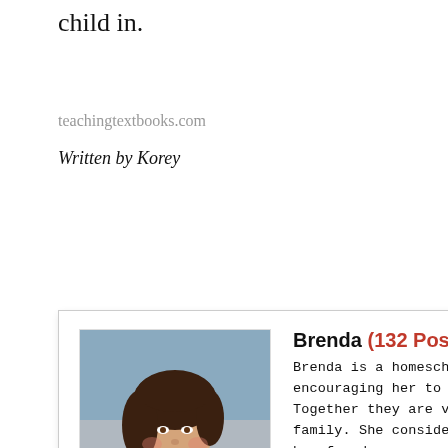child in.
teachingtextbooks.com
Written by Korey
[Figure (photo): Portrait photo of Brenda, a woman with dark hair wearing a colorful scarf and jacket, smiling.]
Brenda (132 Posts)
Brenda is a homeschooling mother of 5, who has a w... encouraging her to be the best woman that God has... Together they are very intentional about spending t... family. She considers her daily life with her childre... has found many avenues to encourage others to liv... She is the founder of a curriculum review site authored by a group of w... bloggers, The Curriculum Choice.